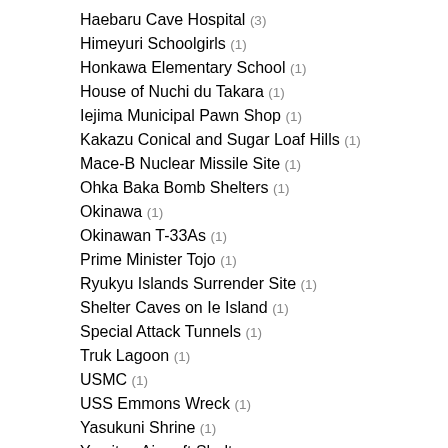Haebaru Cave Hospital (3)
Himeyuri Schoolgirls (1)
Honkawa Elementary School (1)
House of Nuchi du Takara (1)
Iejima Municipal Pawn Shop (1)
Kakazu Conical and Sugar Loaf Hills (1)
Mace-B Nuclear Missile Site (1)
Ohka Baka Bomb Shelters (1)
Okinawa (1)
Okinawan T-33As (1)
Prime Minister Tojo (1)
Ryukyu Islands Surrender Site (1)
Shelter Caves on Ie Island (1)
Special Attack Tunnels (1)
Truk Lagoon (1)
USMC (1)
USS Emmons Wreck (1)
Yasukuni Shrine (1)
Yomitan Aircraft Shelter (1)
Yushukan (1)